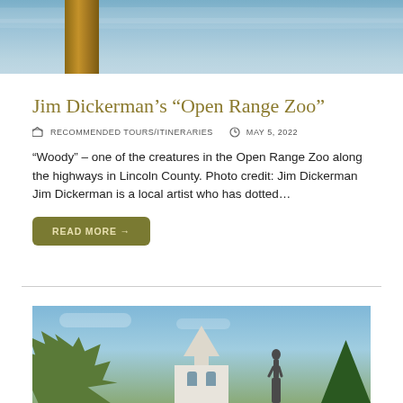[Figure (photo): Top portion of a photo showing a wooden utility pole against a blue sky with light clouds]
Jim Dickerman's “Open Range Zoo”
RECOMMENDED TOURS/ITINERARIES   MAY 5, 2022
“Woody” – one of the creatures in the Open Range Zoo along the highways in Lincoln County. Photo credit: Jim Dickerman Jim Dickerman is a local artist who has dotted…
READ MORE →
[Figure (photo): Bottom portion of a page showing a courthouse or church building with a steeple, a statue, and trees against a blue sky]